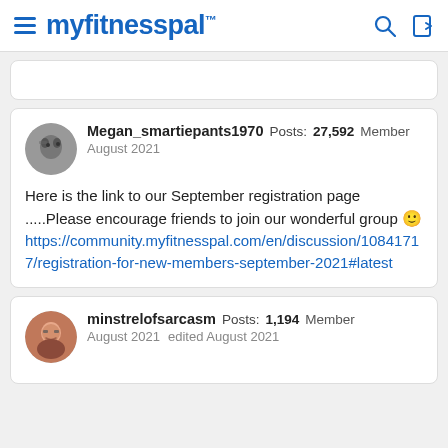myfitnesspal
Megan_smartiepants1970  Posts: 27,592  Member
August 2021

Here is the link to our September registration page .....Please encourage friends to join our wonderful group 🙂
https://community.myfitnesspal.com/en/discussion/10841717/registration-for-new-members-september-2021#latest
minstrelofsarcasm  Posts: 1,194  Member
August 2021  edited August 2021